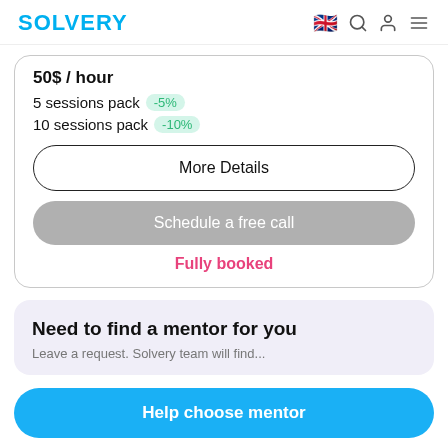SOLVERY
50$ / hour
5 sessions pack -5%
10 sessions pack -10%
More Details
Schedule a free call
Fully booked
Need to find a mentor for you
Help choose mentor